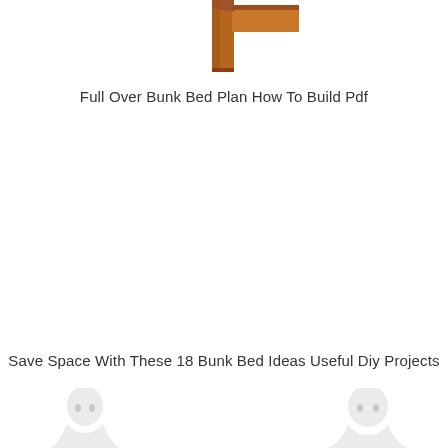[Figure (illustration): Partial view of wooden bunk bed corner post and side rail, brown wood color, cropped at top of page]
Full Over Bunk Bed Plan How To Build Pdf
[Figure (illustration): Two partial figures of people at bottom left and bottom right corners, cropped, appearing as white/light outlines]
Save Space With These 18 Bunk Bed Ideas Useful Diy Projects